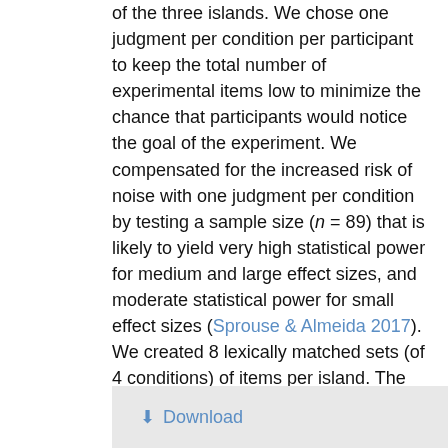of the three islands. We chose one judgment per condition per participant to keep the total number of experimental items low to minimize the chance that participants would notice the goal of the experiment. We compensated for the increased risk of noise with one judgment per condition by testing a sample size (n = 89) that is likely to yield very high statistical power for medium and large effect sizes, and moderate statistical power for small effect sizes (Sprouse & Almeida 2017). We created 8 lexically matched sets (of 4 conditions) of items per island. The items were then distributed among 8 experimental lists, each 4 items long (one per condition in the factorial design), using a Latin square procedure so that participants saw a unique lexical item in each condition. We identified 4 errors in the item codes (out of 96 items across lists) after the experiment. We corrected these errors during analysis, but it meant that the total number of observations per condition were mildly uneven (Table 1).
Download